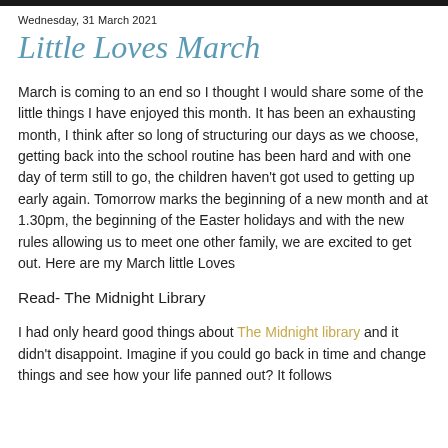Wednesday, 31 March 2021
Little Loves March
March is coming to an end so I thought I would share some of the little things I have enjoyed this month.  It has been an exhausting month, I think after so long of structuring our days as we choose, getting back into the school routine has been hard and with one day of term still to go, the children haven't got used to getting up early again.  Tomorrow marks the beginning of a new month and at 1.30pm, the beginning of the Easter holidays and with the new rules allowing us to meet one other family, we are excited to get out. Here are my March little Loves
Read- The Midnight Library
I had only heard good things about The Midnight library and it didn't disappoint.  Imagine if you could go back in time and change things and see how your life panned out?  It follows